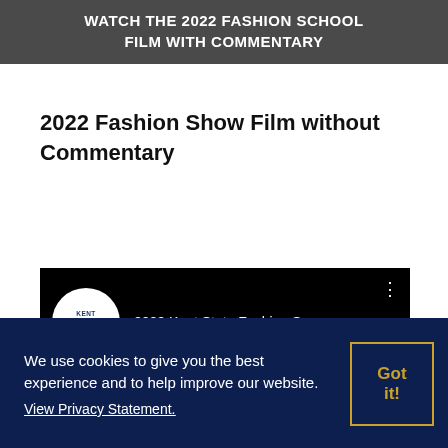WATCH THE 2022 FASHION SCHOOL FILM WITH COMMENTARY
2022 Fashion Show Film without Commentary
[Figure (screenshot): YouTube video thumbnail showing Kent State University Fashion logo and video title '2022 Kent State Fashion Sc...' on dark background]
We use cookies to give you the best experience and to help improve our website. View Privacy Statement.
Got it!